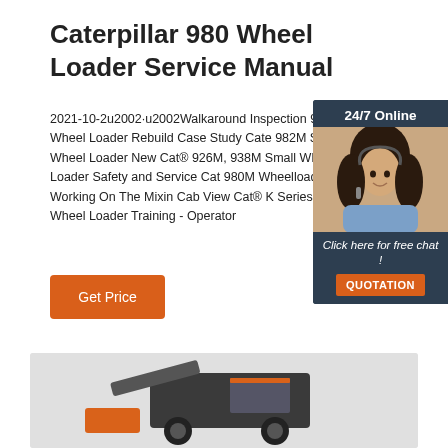Caterpillar 980 Wheel Loader Service Manual
2021-10-2u2002·u2002Walkaround Inspection 980H Wheel Loader Rebuild Case Study Cate 982M Series Wheel Loader New Cat® 926M, 938M Small Wheel Loader Safety and Service Cat 980M Wheelloader Working On The Mixin Cab View Cat® K Series Large Wheel Loader Training - Operator
[Figure (infographic): Orange 'Get Price' button]
[Figure (photo): Ad widget showing a woman with headset, dark navy background with '24/7 Online' header, 'Click here for free chat!' text, and an orange QUOTATION button]
[Figure (photo): Partial image of a Caterpillar 980 wheel loader machine at bottom of page]